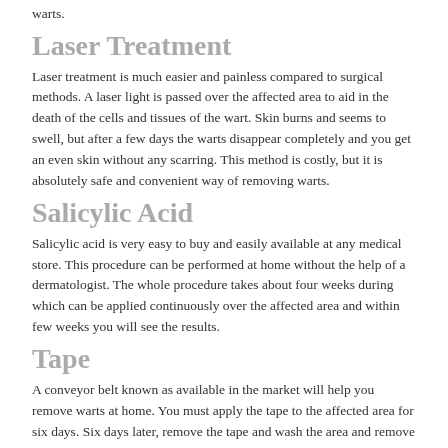warts.
Laser Treatment
Laser treatment is much easier and painless compared to surgical methods. A laser light is passed over the affected area to aid in the death of the cells and tissues of the wart. Skin burns and seems to swell, but after a few days the warts disappear completely and you get an even skin without any scarring. This method is costly, but it is absolutely safe and convenient way of removing warts.
Salicylic Acid
Salicylic acid is very easy to buy and easily available at any medical store. This procedure can be performed at home without the help of a dermatologist. The whole procedure takes about four weeks during which can be applied continuously over the affected area and within few weeks you will see the results.
Tape
A conveyor belt known as available in the market will help you remove warts at home. You must apply the tape to the affected area for six days. Six days later, remove the tape and wash the area and remove the dead skin of the wart. You have to change the tape for at least six weeks to get the required result.
Home Remedy Tips for Warts